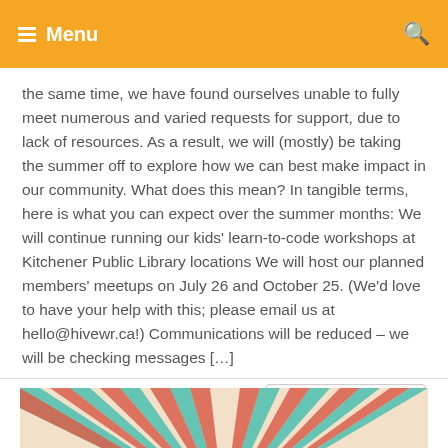Menu
the same time, we have found ourselves unable to fully meet numerous and varied requests for support, due to lack of resources. As a result, we will (mostly) be taking the summer off to explore how we can best make impact in our community. What does this mean? In tangible terms, here is what you can expect over the summer months: We will continue running our kids' learn-to-code workshops at Kitchener Public Library locations We will host our planned members' meetups on July 26 and October 25. (We'd love to have your help with this; please email us at hello@hivewr.ca!) Communications will be reduced – we will be checking messages [...]
Continue reading
[Figure (illustration): Colorful sunburst/starburst pattern with teal, red/coral, and cream radiating stripes]